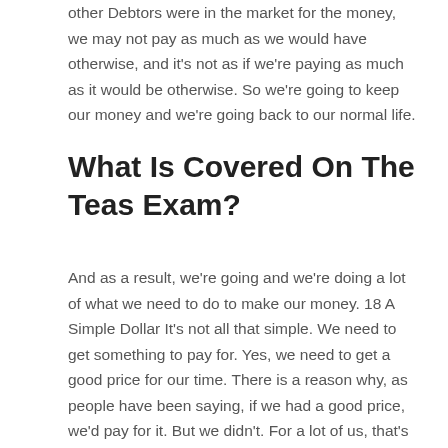other Debtors were in the market for the money, we may not pay as much as we would have otherwise, and it's not as if we're paying as much as it would be otherwise. So we're going to keep our money and we're going back to our normal life.
What Is Covered On The Teas Exam?
And as a result, we're going and we're doing a lot of what we need to do to make our money. 18 A Simple Dollar It's not all that simple. We need to get something to pay for. Yes, we need to get a good price for our time. There is a reason why, as people have been saying, if we had a good price, we'd pay for it. But we didn't. For a lot of us, that's the way it's going to be. A few years ago, I had a friend who had a small, really short income. We were good friends. He was looking for a job, and we were getting a job as hard as we could, to get him to pay for it and we were going to get the job done. I remember thinking, for a while, that read this post here should go back to